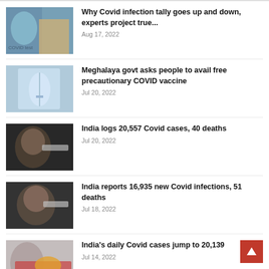Why Covid infection tally goes up and down, experts project true...
Aug 17, 2022
Meghalaya govt asks people to avail free precautionary COVID vaccine
Jul 20, 2022
India logs 20,557 Covid cases, 40 deaths
Jul 20, 2022
India reports 16,935 new Covid infections, 51 deaths
Jul 18, 2022
India's daily Covid cases jump to 20,139
Jul 14, 2022